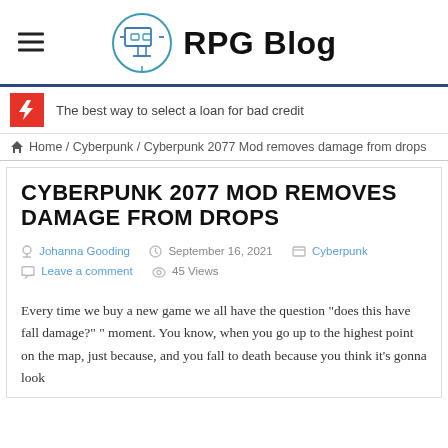RPG Blog
The best way to select a loan for bad credit
Home / Cyberpunk / Cyberpunk 2077 Mod removes damage from drops
CYBERPUNK 2077 MOD REMOVES DAMAGE FROM DROPS
Johanna Gooding   September 16, 2021   Cyberpunk   Leave a comment   45 Views
Every time we buy a new game we all have the question “does this have fall damage?” ” moment. You know, when you go up to the highest point on the map, just because, and you fall to death because you think it’s gonna look